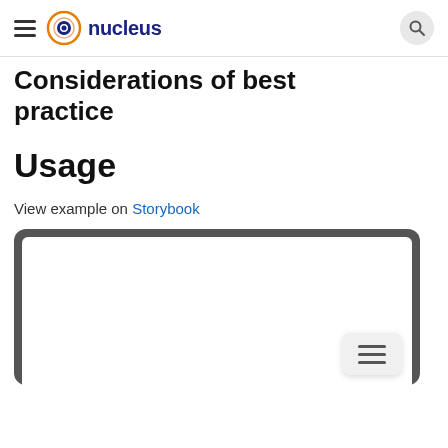nucleus
Considerations of best practice
Usage
View example on Storybook
[Figure (screenshot): A laptop/browser frame mockup showing a white screen with a floating hamburger menu button in the bottom-right corner]